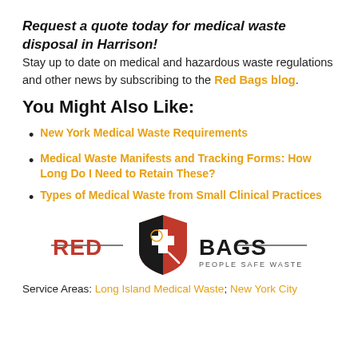Request a quote today for medical waste disposal in Harrison!
Stay up to date on medical and hazardous waste regulations and other news by subscribing to the Red Bags blog.
You Might Also Like:
New York Medical Waste Requirements
Medical Waste Manifests and Tracking Forms: How Long Do I Need to Retain These?
Types of Medical Waste from Small Clinical Practices
[Figure (logo): Red Bags logo — shield icon with biohazard and cross symbols, text RED BAGS PEOPLE SAFE WASTE with horizontal lines on either side]
Service Areas: Long Island Medical Waste; New York City